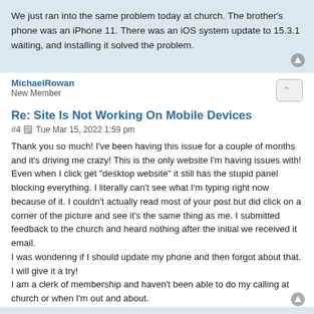We just ran into the same problem today at church. The brother's phone was an iPhone 11. There was an iOS system update to 15.3.1 waiting, and installing it solved the problem.
MichaelRowan
New Member
Re: Site Is Not Working On Mobile Devices
#4  Tue Mar 15, 2022 1:59 pm
Thank you so much! I've been having this issue for a couple of months and it's driving me crazy! This is the only website I'm having issues with! Even when I click get "desktop website" it still has the stupid panel blocking everything. I literally can't see what I'm typing right now because of it. I couldn't actually read most of your post but did click on a corner of the picture and see it's the same thing as me. I submitted feedback to the church and heard nothing after the initial we received it email.
I was wondering if I should update my phone and then forgot about that. I will give it a try!
I am a clerk of membership and haven't been able to do my calling at church or when I'm out and about.